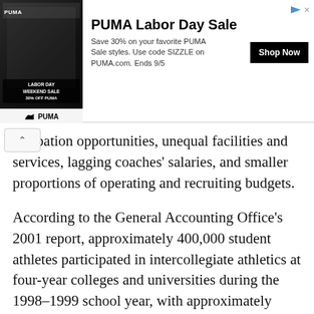[Figure (illustration): PUMA Labor Day Sale advertisement banner with athlete image, sale text, and Shop Now button]
rticipation opportunities, unequal facilities and services, lagging coaches' salaries, and smaller proportions of operating and recruiting budgets.
According to the General Accounting Office's 2001 report, approximately 400,000 student athletes participated in intercollegiate athletics at four-year colleges and universities during the 1998–1999 school year, with approximately 160,000 being female athletes. While this